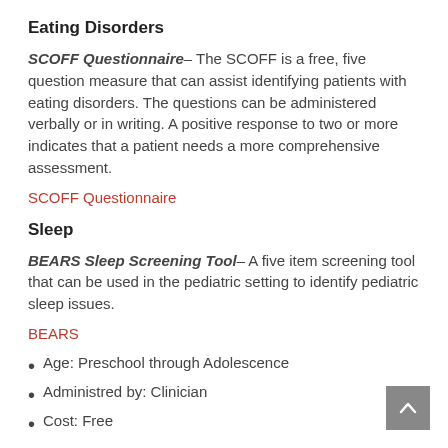Eating Disorders
SCOFF Questionnaire– The SCOFF is a free, five question measure that can assist identifying patients with eating disorders. The questions can be administered verbally or in writing. A positive response to two or more indicates that a patient needs a more comprehensive assessment.
SCOFF Questionnaire
Sleep
BEARS Sleep Screening Tool– A five item screening tool that can be used in the pediatric setting to identify pediatric sleep issues.
BEARS
Age: Preschool through Adolescence
Administred by: Clinician
Cost: Free